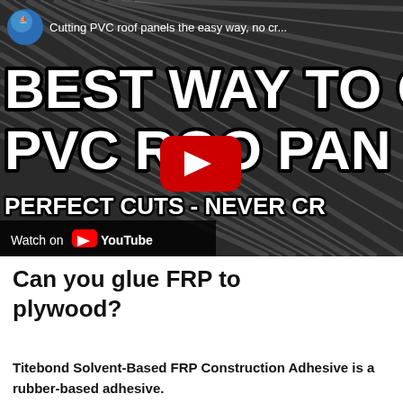[Figure (screenshot): YouTube video thumbnail for 'Cutting PVC roof panels the easy way, no cra...' showing corrugated PVC panels with bold white text on black stroke: 'BEST WAY TO C... PVC ROO... PAN... PERFECT CUTS - NEVER CR...' with YouTube play button overlay, channel avatar, and Watch on YouTube bar at bottom.]
Can you glue FRP to plywood?
Titebond Solvent-Based FRP Construction Adhesive is a rubber-based adhesive.